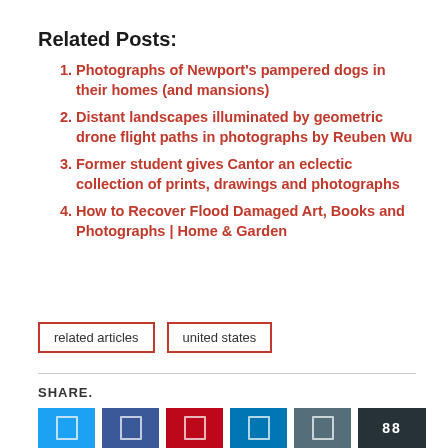Related Posts:
Photographs of Newport's pampered dogs in their homes (and mansions)
Distant landscapes illuminated by geometric drone flight paths in photographs by Reuben Wu
Former student gives Cantor an eclectic collection of prints, drawings and photographs
How to Recover Flood Damaged Art, Books and Photographs | Home & Garden
related articles  united states
SHARE.